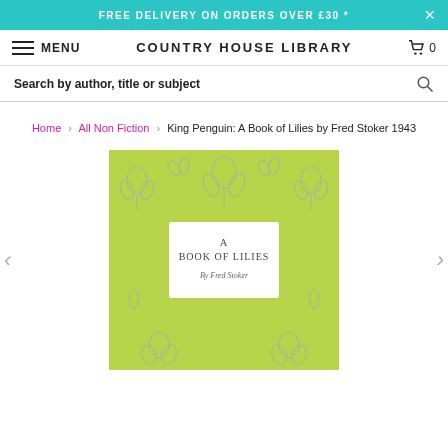FREE DELIVERY ON ORDERS OVER £30 *
COUNTRY HOUSE LIBRARY | MENU | 0
Search by author, title or subject
Home > All Non Fiction > King Penguin: A Book of Lilies by Fred Stoker 1943
[Figure (photo): Book cover of 'A Book of Lilies by Fred Stoker' — a square King Penguin book with a light green patterned cover featuring stylised lily and floral motifs in white/grey outlines. A white rectangular label in the centre reads 'A BOOK OF LILIES By Fred Stoker' in serif typeface.]